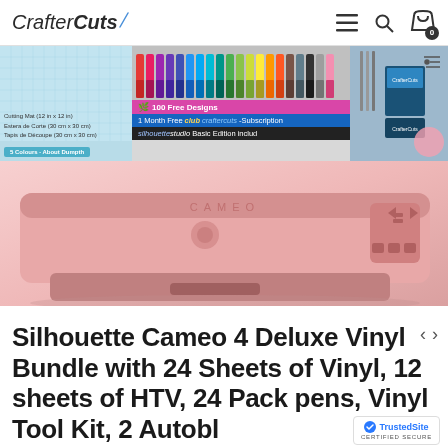CrafterCuts
[Figure (screenshot): Product image collage showing a pink Silhouette Cameo 4 cutting machine, pens/markers, cutting mat, tools, and promotional banners including '100 Free Designs', '1 Month Free club Subscription', 'silhouettestudio Basic Edition included']
Silhouette Cameo 4 Deluxe Vinyl Bundle with 24 Sheets of Vinyl, 12 sheets of HTV, 24 Pack pens, Vinyl Tool Kit, 2 Autobl